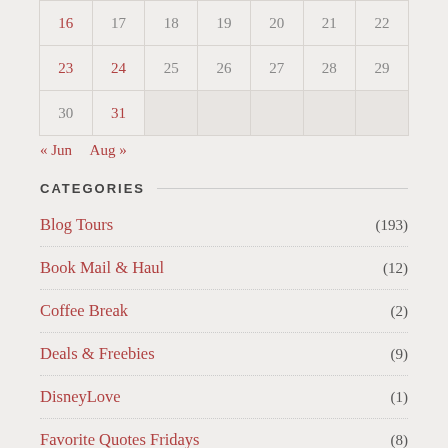| 16 | 17 | 18 | 19 | 20 | 21 | 22 |
| 23 | 24 | 25 | 26 | 27 | 28 | 29 |
| 30 | 31 |  |  |  |  |  |
« Jun   Aug »
CATEGORIES
Blog Tours (193)
Book Mail & Haul (12)
Coffee Break (2)
Deals & Freebies (9)
DisneyLove (1)
Favorite Quotes Fridays (8)